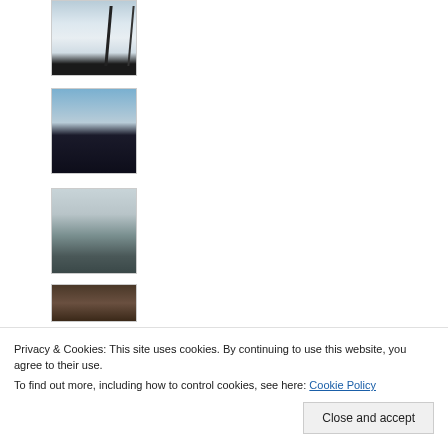[Figure (photo): Snowy winter scene with dark fence or structure on right side, snow-covered ground, trees in background]
[Figure (photo): Field or landscape at dusk/dawn with bare trees on the right silhouetted against pale sky, dark foreground]
[Figure (photo): Foggy landscape with a single bare tree in a green/dark field, misty grey atmosphere]
[Figure (photo): Partial view of dark warm-toned image, possibly lit scene at night]
[Figure (photo): Partial view of dark blue-toned image at bottom of page]
Privacy & Cookies: This site uses cookies. By continuing to use this website, you agree to their use.
To find out more, including how to control cookies, see here: Cookie Policy
Close and accept